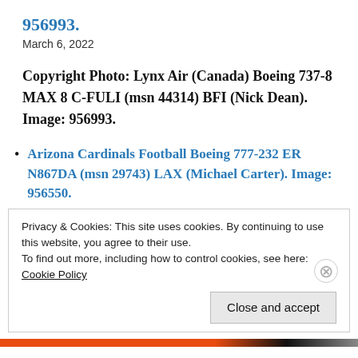956993.
March 6, 2022
Copyright Photo: Lynx Air (Canada) Boeing 737-8 MAX 8 C-FULI (msn 44314) BFI (Nick Dean). Image: 956993.
Arizona Cardinals Football Boeing 777-232 ER N867DA (msn 29743) LAX (Michael Carter). Image: 956550.
January 19, 2022
Privacy & Cookies: This site uses cookies. By continuing to use this website, you agree to their use.
To find out more, including how to control cookies, see here:
Cookie Policy
Close and accept